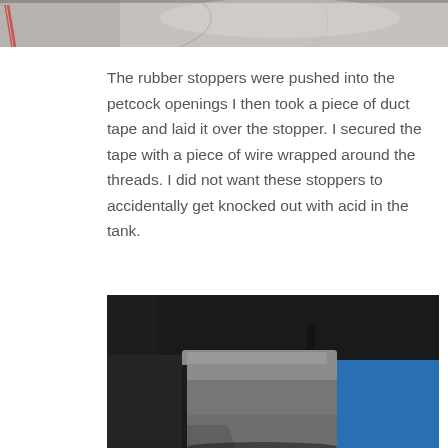[Figure (photo): Close-up photo of a gray/beige surface with some wiring visible on the left side, appears to be part of a motorcycle fuel tank or similar component.]
The rubber stoppers were pushed into the petcock openings I then took a piece of duct tape and laid it over the stopper. I secured the tape with a piece of wire wrapped around the threads. I did not want these stoppers to accidentally get knocked out with acid in the tank.
[Figure (photo): Photo showing a metal component wrapped in gray duct tape, sitting in what appears to be a dark container or tub, with blue plastic visible in the background.]